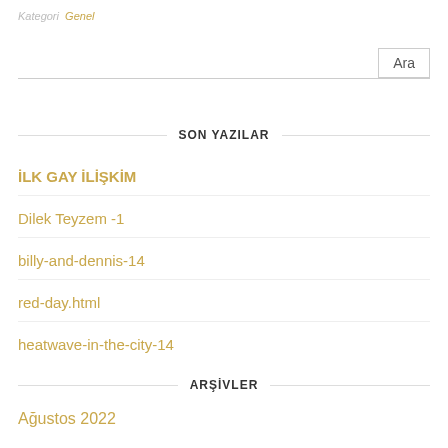Kategori  Genel
SON YAZILAR
İLK GAY İLİŞKİM
Dilek Teyzem -1
billy-and-dennis-14
red-day.html
heatwave-in-the-city-14
ARŞİVLER
Ağustos 2022